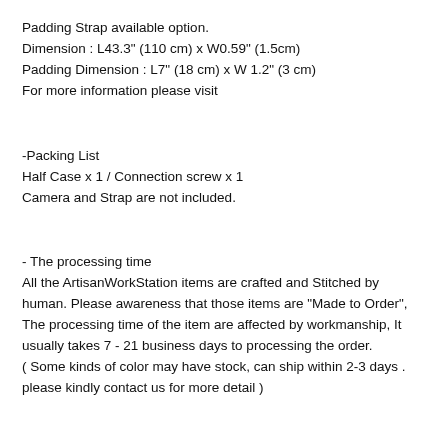Padding Strap available option.
Dimension : L43.3" (110 cm) x W0.59" (1.5cm)
Padding Dimension : L7" (18 cm) x W 1.2" (3 cm)
For more information please visit
-Packing List
Half Case x 1 / Connection screw x 1
Camera and Strap are not included.
- The processing time
All the ArtisanWorkStation items are crafted and Stitched by human. Please awareness that those items are "Made to Order", The processing time of the item are affected by workmanship, It usually takes 7 - 21 business days to processing the order.
( Some kinds of color may have stock, can ship within 2-3 days .
please kindly contact us for more detail )